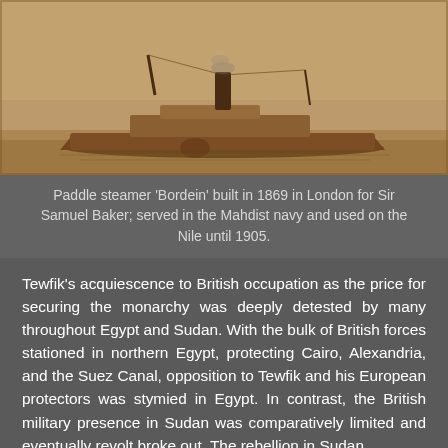[Figure (photo): Sepia-toned historical photograph of a paddle steamer vessel on water, viewed from the side. The ship has a low profile with a smokestack and superstructure visible.]
Paddle steamer 'Bordein' built in 1869 in London for Sir Samuel Baker; served in the Mahdist navy and used on the Nile until 1905.
Tewfik's acquiescence to British occupation as the price for securing the monarchy was deeply detested by many throughout Egypt and Sudan. With the bulk of British forces stationed in northern Egypt, protecting Cairo, Alexandria, and the Suez Canal, opposition to Tewfik and his European protectors was stymied in Egypt. In contrast, the British military presence in Sudan was comparatively limited and eventually revolt broke out. The rebellion in Sudan,